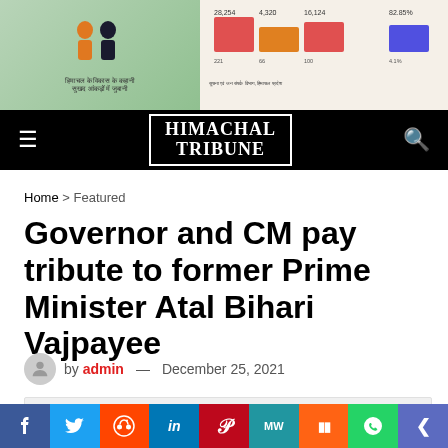[Figure (infographic): Himachal Pradesh government advertisement banner showing politicians and statistics]
HIMACHAL TRIBUNE
Home > Featured
Governor and CM pay tribute to former Prime Minister Atal Bihari Vajpayee
by admin — December 25, 2021
[Figure (photo): Featured article image placeholder]
Social share bar: Facebook, Twitter, Reddit, LinkedIn, Pinterest, MeWe, Mix, WhatsApp, Share